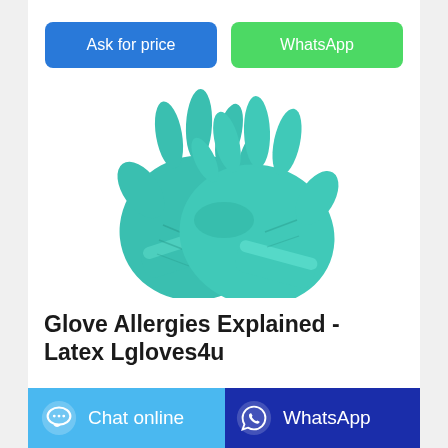[Figure (other): Two teal/green nitrile or latex disposable gloves placed together on a white background]
Glove Allergies Explained - Latex Lgloves4u
Ask for price
WhatsApp
Chat online
WhatsApp